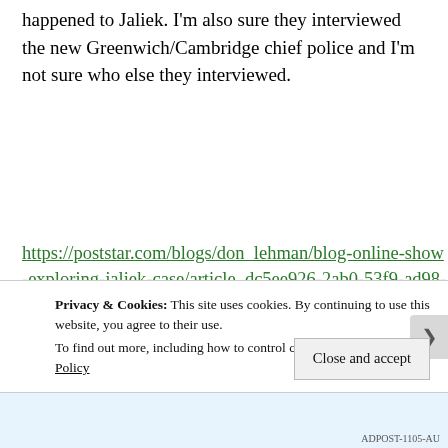happened to Jaliek. I'm also sure they interviewed the new Greenwich/Cambridge chief police and I'm not sure who else they interviewed.
https://poststar.com/blogs/don_lehman/blog-online-show-exploring-jaliek-case/article_dc5ee926-2ab0-53f9-ad98-c181d0e6285f.html?fbclid=IwAR1D-5NNBqYb9R48fsjKObK5qCwkW6lyAd-XvvFeKJdrNd0IJdwItMm5kp0#utm_campaign=blox&utm_so
Privacy & Cookies: This site uses cookies. By continuing to use this website, you agree to their use. To find out more, including how to control cookies, see here: Cookie Policy
Close and accept